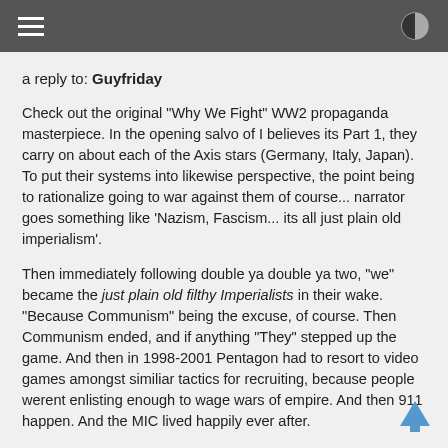≡  ◑
a reply to: Guyfriday
Check out the original "Why We Fight" WW2 propaganda masterpiece. In the opening salvo of I believes its Part 1, they carry on about each of the Axis stars (Germany, Italy, Japan). To put their systems into likewise perspective, the point being to rationalize going to war against them of course... narrator goes something like 'Nazism, Fascism... its all just plain old imperialism'.
Then immediately following double ya double ya two, "we" became the just plain old filthy Imperialists in their wake. "Because Communism" being the excuse, of course. Then Communism ended, and if anything "They" stepped up the game. And then in 1998-2001 Pentagon had to resort to video games amongst similiar tactics for recruiting, because people werent enlisting enough to wage wars of empire. And then 911 happen. And the MIC lived happily ever after.